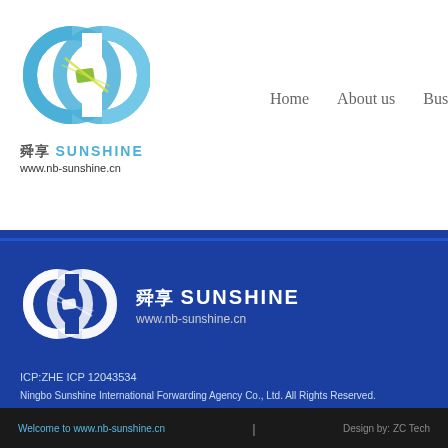[Figure (logo): Sunshine logistics company circular chain link logo in blue and green, top header version]
舜享 SUNSHINE
www.nb-sunshine.cn
Home    About us    Busi
[Figure (logo): Sunshine logistics company circular chain link logo in white, footer version on blue background]
舜享 SUNSHINE
www.nb-sunshine.cn
ICP:ZHE ICP 12043534
Ningbo Sunshine International Forwarding Agency Co., Ltd. All Rights Reserved.
Welcome to www.nb-sunshine.cn    |    Design by: ZC Tech